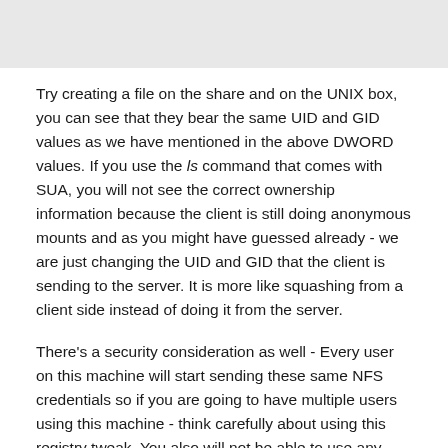[Figure (screenshot): Gray rectangular area at the top of the page, likely a screenshot or image placeholder]
Try creating a file on the share and on the UNIX box, you can see that they bear the same UID and GID values as we have mentioned in the above DWORD values. If you use the ls command that comes with SUA, you will not see the correct ownership information because the client is still doing anonymous mounts and as you might have guessed already - we are just changing the UID and GID that the client is sending to the server. It is more like squashing from a client side instead of doing it from the server.
There's a security consideration as well - Every user on this machine will start sending these same NFS credentials so if you are going to have multiple users using this machine - think carefully about using this registry tweak. You also will not be able to use any secondary groups. I guess that can